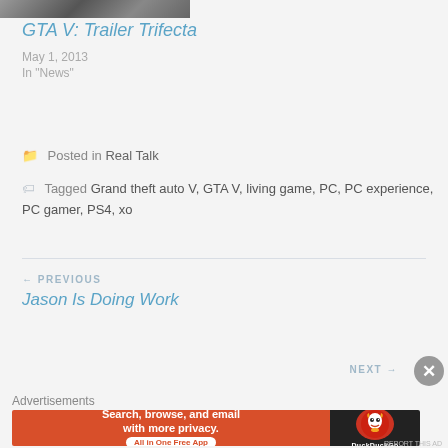[Figure (photo): Partial thumbnail image of GTA V article]
GTA V: Trailer Trifecta
May 1, 2013
In "News"
Posted in Real Talk
Tagged Grand theft auto V, GTA V, living game, PC, PC experience, PC gamer, PS4, xo
← PREVIOUS
Jason Is Doing Work
NEXT →
Advertisements
[Figure (screenshot): DuckDuckGo advertisement banner: Search, browse, and email with more privacy. All in One Free App.]